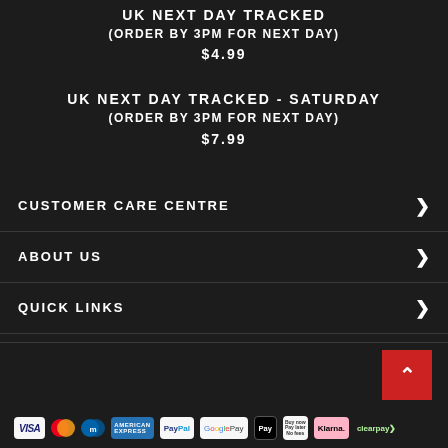UK NEXT DAY TRACKED
(ORDER BY 3PM FOR NEXT DAY)
$4.99
UK NEXT DAY TRACKED - SATURDAY
(ORDER BY 3PM FOR NEXT DAY)
$7.99
CUSTOMER CARE CENTRE
ABOUT US
QUICK LINKS
[Figure (other): Payment method logos: VISA, Mastercard, Maestro, American Express, PayPal, Google Pay, Apple Pay, Buy Now Pay Later, Klarna, Clearpay]